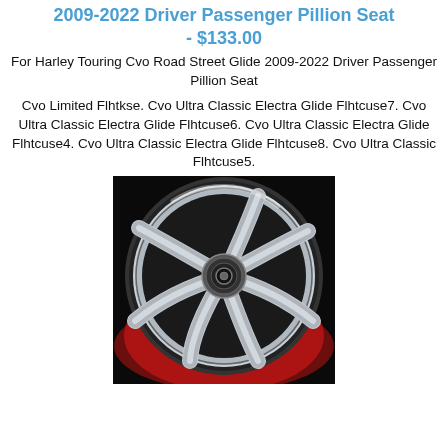2009-2022 Driver Passenger Pillion Seat - $133.00
For Harley Touring Cvo Road Street Glide 2009-2022 Driver Passenger Pillion Seat
Cvo Limited Flhtkse. Cvo Ultra Classic Electra Glide Flhtcuse7. Cvo Ultra Classic Electra Glide Flhtcuse6. Cvo Ultra Classic Electra Glide Flhtcuse4. Cvo Ultra Classic Electra Glide Flhtcuse8. Cvo Ultra Classic Flhtcuse5.
[Figure (photo): A chrome motorcycle wheel with 7 curved spokes on a black and red background]